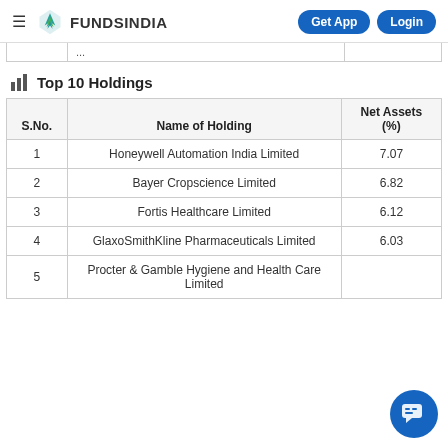FundsIndia — Get App | Login
Top 10 Holdings
| S.No. | Name of Holding | Net Assets (%) |
| --- | --- | --- |
| 1 | Honeywell Automation India Limited | 7.07 |
| 2 | Bayer Cropscience Limited | 6.82 |
| 3 | Fortis Healthcare Limited | 6.12 |
| 4 | GlaxoSmithKline Pharmaceuticals Limited | 6.03 |
| 5 | Procter & Gamble Hygiene and Health Care Limited | 5.xx |